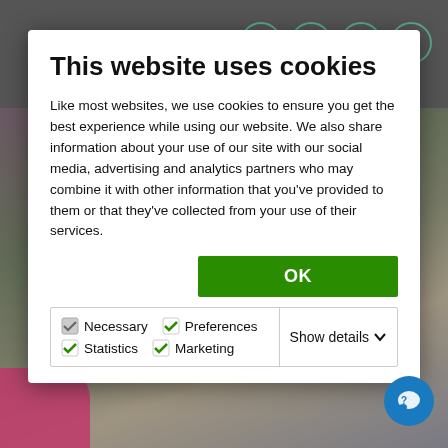[Figure (screenshot): Website header with logo on left and navigation circle icons on right, dark gray background]
This website uses cookies
Like most websites, we use cookies to ensure you get the best experience while using our website. We also share information about your use of our site with our social media, advertising and analytics partners who may combine it with other information that you've provided to them or that they've collected from your use of their services.
OK
Necessary  Preferences  Statistics  Marketing  Show details